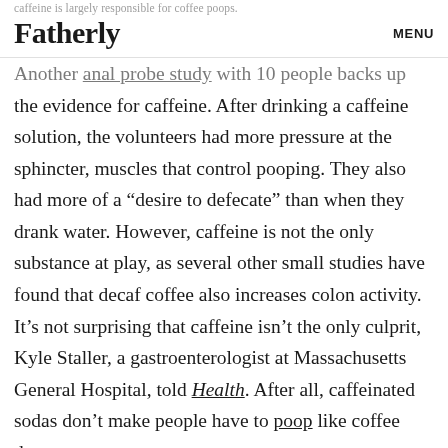caffeine is largely responsible for coffee poops.
Fatherly  MENU
Another anal probe study with 10 people backs up the evidence for caffeine. After drinking a caffeine solution, the volunteers had more pressure at the sphincter, muscles that control pooping. They also had more of a “desire to defecate” than when they drank water. However, caffeine is not the only substance at play, as several other small studies have found that decaf coffee also increases colon activity. It’s not surprising that caffeine isn’t the only culprit, Kyle Staller, a gastroenterologist at Massachusetts General Hospital, told Health. After all, caffeinated sodas don’t make people have to poop like coffee does.